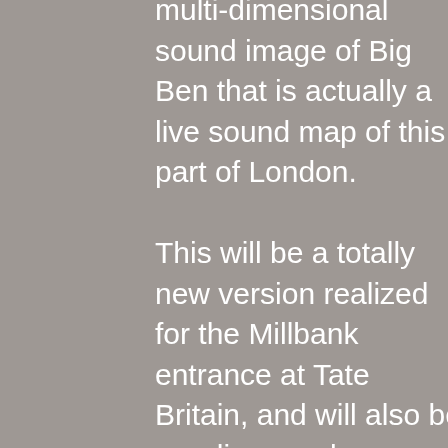multi-dimensional sound image of Big Ben that is actually a live sound map of this part of London.

This will be a totally new version realized for the Millbank entrance at Tate Britain, and will also be a radio sound sculpture for the BBC that is streamed live on their website for the entire month of September, and also occasionally broadcast on BBC